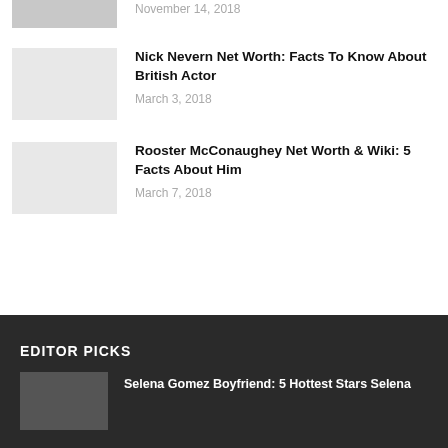[Figure (photo): Partial thumbnail image at top, cropped]
November 14, 2018
Nick Nevern Net Worth: Facts To Know About British Actor
March 3, 2018
Rooster McConaughey Net Worth & Wiki: 5 Facts About Him
March 7, 2018
EDITOR PICKS
Selena Gomez Boyfriend: 5 Hottest Stars Selena